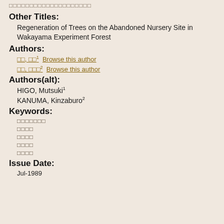□□□□□□□□□□□□□□□□□□□□
Other Titles:
Regeneration of Trees on the Abandoned Nursery Site in Wakayama Experiment Forest
Authors:
□□, □□¹ Browse this author
□□, □□□² Browse this author
Authors(alt):
HIGO, Mutsuki¹
KANUMA, Kinzaburo²
Keywords:
□□□□□□□
□□□□
□□□□
□□□□
□□□□
Issue Date:
Jul-1989